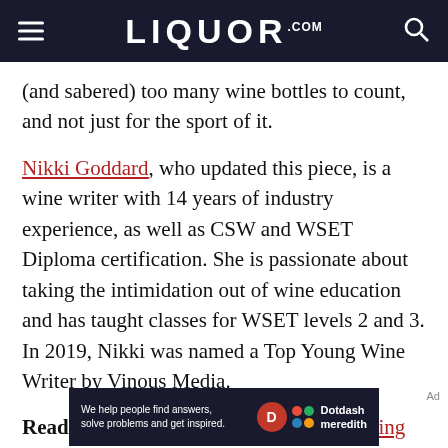LIQUOR.COM
(and sabered) too many wine bottles to count, and not just for the sport of it.
Nikki Goddard, who updated this piece, is a wine writer with 14 years of industry experience, as well as CSW and WSET Diploma certification. She is passionate about taking the intimidation out of wine education and has taught classes for WSET levels 2 and 3. In 2019, Nikki was named a Top Young Wine Writer by Vinous Media.
Read Next: The Best Corkscrews, According to E...
[Figure (logo): Dotdash Meredith advertisement banner with text: We help people find answers, solve problems and get inspired.]